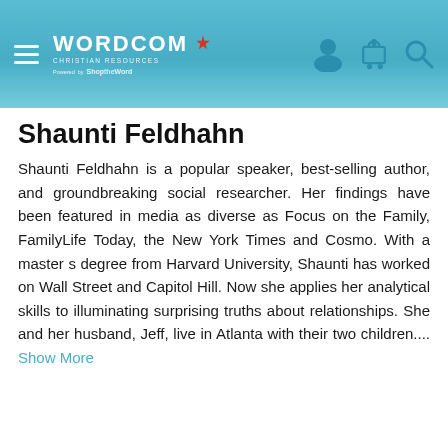WORDCOM CHRISTIAN RESOURCES — Powered by ShopTheWord
Shaunti Feldhahn
Shaunti Feldhahn is a popular speaker, best-selling author, and groundbreaking social researcher. Her findings have been featured in media as diverse as Focus on the Family, FamilyLife Today, the New York Times and Cosmo. With a master s degree from Harvard University, Shaunti has worked on Wall Street and Capitol Hill. Now she applies her analytical skills to illuminating surprising truths about relationships. She and her husband, Jeff, live in Atlanta with their two children.... Show More